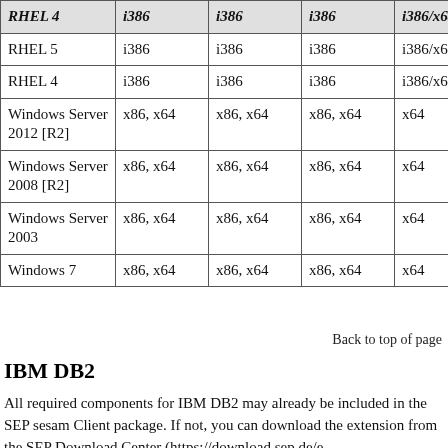|  | ... | ... | ... | .../.. | .. |
| --- | --- | --- | --- | --- | --- |
| RHEL 5 | i386 | i386 | i386 | i386/x64 |  |
| RHEL 4 | i386 | i386 | i386 | i386/x64 |  |
| Windows Server 2012 [R2] | x86, x64 | x86, x64 | x86, x64 | x64 | x6 |
| Windows Server 2008 [R2] | x86, x64 | x86, x64 | x86, x64 | x64 | x6 |
| Windows Server 2003 | x86, x64 | x86, x64 | x86, x64 | x64 |  |
| Windows 7 | x86, x64 | x86, x64 | x86, x64 | x64 |  |
Back to top of page
IBM DB2
All required components for IBM DB2 may already be included in the SEP sesam Client package. If not, you can download the extension from the SEP Download Center (https://download.sep.de/e...